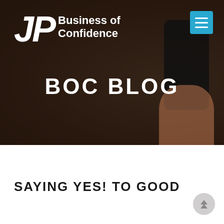[Figure (screenshot): Website header hero image with dark brown/blurred background showing a hand holding a smartphone. Contains the JP Business of Confidence logo top-left, a cyan hamburger menu button top-right, and 'BOC BLOG' text centered in the hero area.]
SAYING YES! TO GOOD